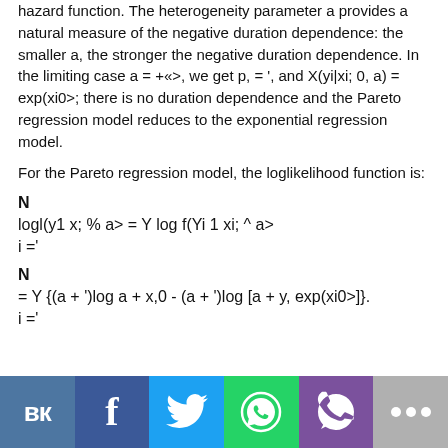hazard function. The heterogeneity parameter a provides a natural measure of the negative duration dependence: the smaller a, the stronger the negative duration dependence. In the limiting case a = +«>, we get p, = ', and X(yi|xi; 0, a) = exp(xi0>; there is no duration dependence and the Pareto regression model reduces to the exponential regression model.
For the Pareto regression model, the loglikelihood function is:
[Figure (infographic): Social media sharing icons bar: VK (blue), Facebook (dark blue), Twitter (cyan), WhatsApp (green), Viber (purple), More/dots (grey)]